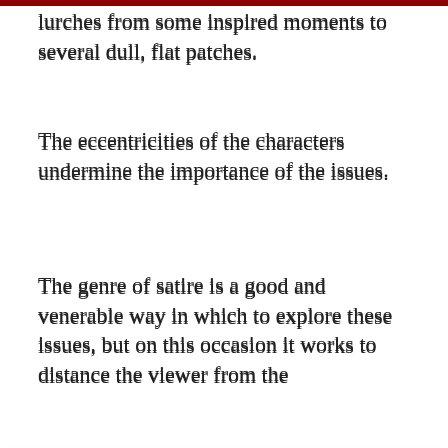lurches from some inspired moments to several dull, flat patches.
The eccentricities of the characters undermine the importance of the issues.
The genre of satire is a good and venerable way in which to explore these issues, but on this occasion it works to distance the viewer from the
This website stores cookies on your computer. These cookies are used to improve your website experience and provide more personalized services to you, both on this website and through other media. To find out more about the cookies we use, see our Privacy Policy.

If you decline, your information won't be tracked when you visit this website. A single cookie will be used in your browser to remember your preference not to be tracked.